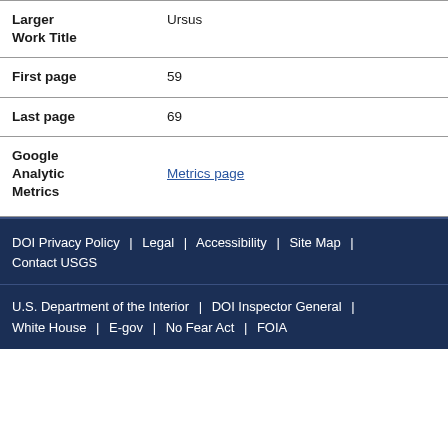| Larger Work Title | Ursus |
| First page | 59 |
| Last page | 69 |
| Google Analytic Metrics | Metrics page |
DOI Privacy Policy | Legal | Accessibility | Site Map | Contact USGS
U.S. Department of the Interior | DOI Inspector General | White House | E-gov | No Fear Act | FOIA